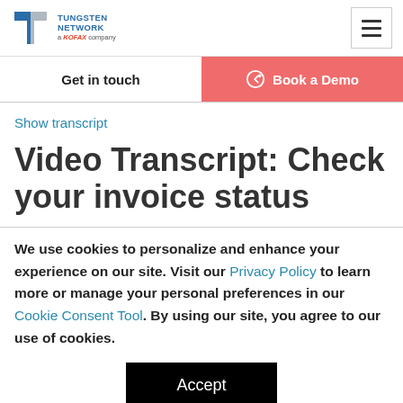Tungsten Network a KOFAX company
Get in touch
Book a Demo
Show transcript
Video Transcript: Check your invoice status
We use cookies to personalize and enhance your experience on our site. Visit our Privacy Policy to learn more or manage your personal preferences in our Cookie Consent Tool. By using our site, you agree to our use of cookies.
Accept